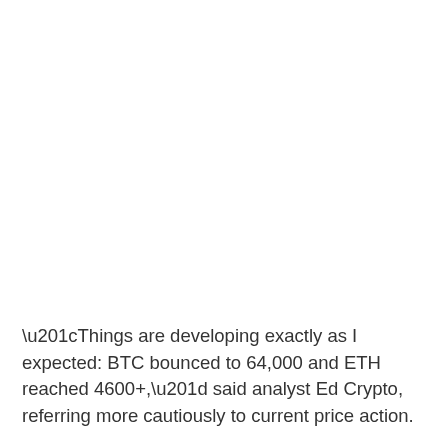“Things are developing exactly as I expected: BTC bounced to 64,000 and ETH reached 4600+,” said analyst Ed Crypto, referring more cautiously to current price action.